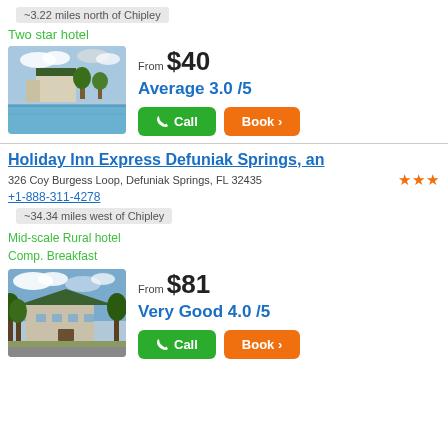~3.22 miles north of Chipley
Two star hotel
[Figure (photo): Hotel pool area with green roof structure and trees in background]
From $40
Average 3.0 /5
Call
Book
Holiday Inn Express Defuniak Springs, an
326 Coy Burgess Loop, Defuniak Springs, FL 32435
+1-888-311-4278
~34.34 miles west of Chipley
Mid-scale Rural hotel
Comp. Breakfast
[Figure (photo): Holiday Inn Express hotel building with green roof, surrounded by trees and open sky]
From $81
Very Good 4.0 /5
Call
Book